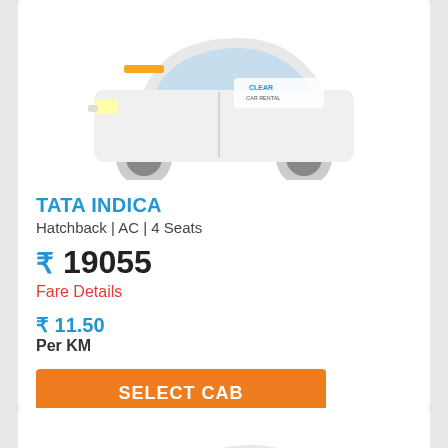[Figure (photo): White Tata Indica hatchback car with Clear Car Rental branding, partial top view cut off at top of page]
TATA INDICA
Hatchback | AC | 4 Seats
₹ 19055
Fare Details
₹ 11.50
Per KM
SELECT CAB
[Figure (photo): White Tata Indigo sedan car with Clear Car Rental branding, partially visible at bottom of page]